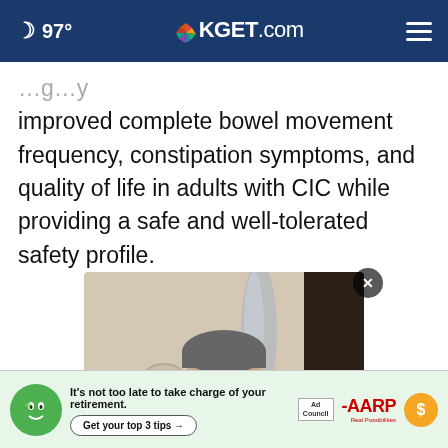97° KGET.com
improved complete bowel movement frequency, constipation symptoms, and quality of life in adults with CIC while providing a safe and well-tolerated safety profile.
[Figure (photo): Portrait photo of a middle-aged South Asian man wearing glasses and a jacket, smiling, in what appears to be a medical or office setting.]
[Figure (infographic): AARP advertisement banner: green face mascot, text 'It’s not too late to take charge of your retirement. Get your top 3 tips →', Ad Council logo, AARP logo, coin icon.]